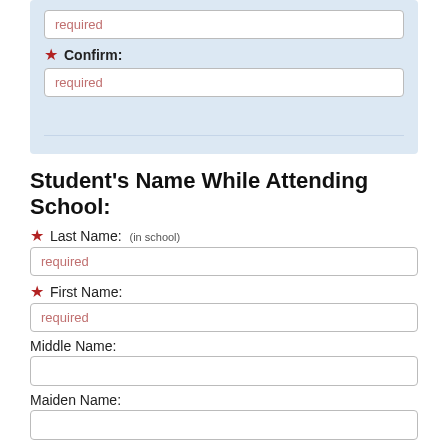required (Confirm field)
★ Confirm:
required (second confirm field)
Student's Name While Attending School:
★ Last Name: (in school)
required
★ First Name:
required
Middle Name:
Maiden Name:
Suffix: